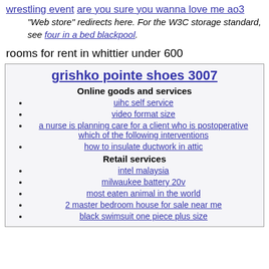wrestling event   are you sure you wanna love me ao3
"Web store" redirects here. For the W3C storage standard, see four in a bed blackpool.
rooms for rent in whittier under 600
grishko pointe shoes 3007
Online goods and services
uihc self service
video format size
a nurse is planning care for a client who is postoperative which of the following interventions
how to insulate ductwork in attic
Retail services
intel malaysia
milwaukee battery 20v
most eaten animal in the world
2 master bedroom house for sale near me
black swimsuit one piece plus size